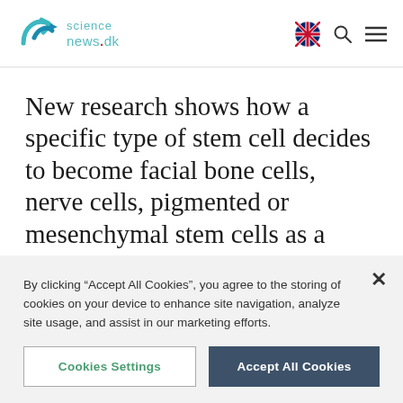science news.dk
New research shows how a specific type of stem cell decides to become facial bone cells, nerve cells, pigmented or mesenchymal stem cells as a fetus develops. This discovery could be
By clicking “Accept All Cookies”, you agree to the storing of cookies on your device to enhance site navigation, analyze site usage, and assist in our marketing efforts.